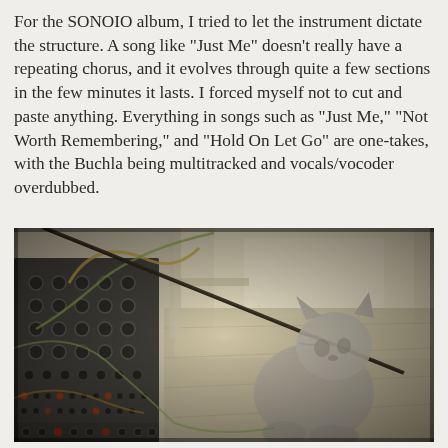For the SONOIO album, I tried to let the instrument dictate the structure. A song like "Just Me" doesn't really have a repeating chorus, and it evolves through quite a few sections in the few minutes it lasts. I forced myself not to cut and paste anything. Everything in songs such as "Just Me," "Not Worth Remembering," and "Hold On Let Go" are one-takes, with the Buchla being multitracked and vocals/vocoder overdubbed.
[Figure (photo): A vintage-filtered photograph showing a cat sitting near a modular synthesizer (appears to be a Buchla), with cables/patch cords visible and a bright window in the background. The image has a warm, desaturated vintage tone with vignetting around the edges.]